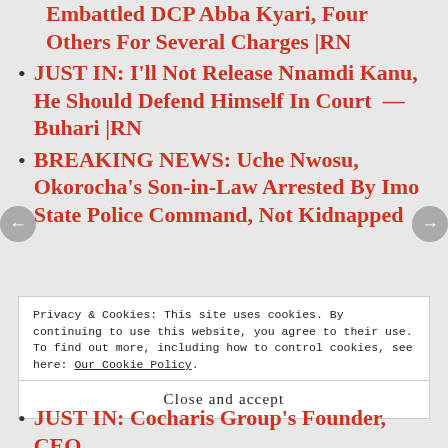Embattled DCP Abba Kyari, Four Others For Several Charges |RN
JUST IN: I'll Not Release Nnamdi Kanu, He Should Defend Himself In Court — Buhari |RN
BREAKING NEWS: Uche Nwosu, Okorocha's Son-in-Law Arrested By Imo State Police Command, Not Kidnapped
Privacy & Cookies: This site uses cookies. By continuing to use this website, you agree to their use.
To find out more, including how to control cookies, see here: Our Cookie Policy
Close and accept
JUST IN: Cocharis Group's Founder, CEO